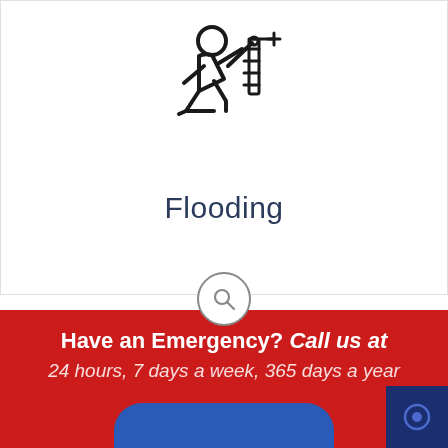[Figure (illustration): Line icon of a plumber/repair person kneeling and working on pipes or plumbing fixtures]
Flooding
[Figure (other): Search magnifying glass icon inside a circle]
Have an Emergency? Call us at
24 hours, 7 days a week, 365 days a year
[Figure (other): Blue rounded button at bottom center, dark blue box with circular icon at bottom right]